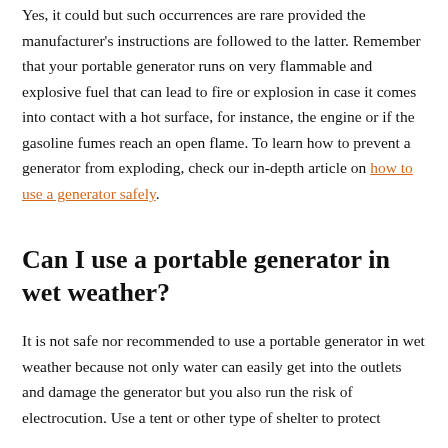Yes, it could but such occurrences are rare provided the manufacturer's instructions are followed to the latter. Remember that your portable generator runs on very flammable and explosive fuel that can lead to fire or explosion in case it comes into contact with a hot surface, for instance, the engine or if the gasoline fumes reach an open flame. To learn how to prevent a generator from exploding, check our in-depth article on how to use a generator safely.
Can I use a portable generator in wet weather?
It is not safe nor recommended to use a portable generator in wet weather because not only water can easily get into the outlets and damage the generator but you also run the risk of electrocution. Use a tent or other type of shelter to protect